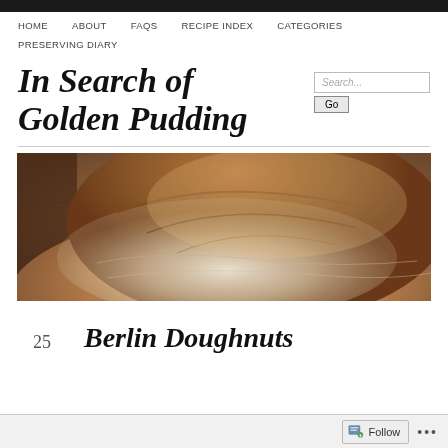HOME   ABOUT   FAQS   RECIPE INDEX   CATEGORIES   PRESERVING DIARY
In Search of Golden Pudding
[Figure (photo): Close-up photo of a round rustic sourdough bread loaf dusted with flour, on a wooden surface]
25   Berlin Doughnuts
Follow